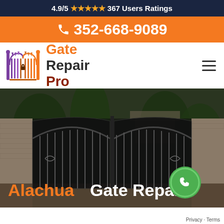4.9/5 ★★★★★ 367 Users Ratings
📞 352-668-9089
[Figure (logo): Gate Repair Pro logo with orange/purple gate icon and text 'Gate Repair Pro']
[Figure (photo): Decorative wrought iron double gate with stone pillars, driveway setting with trees and house in background. Text overlay: 'Alachua Gate Repair' with phone call button.]
Privacy · Terms